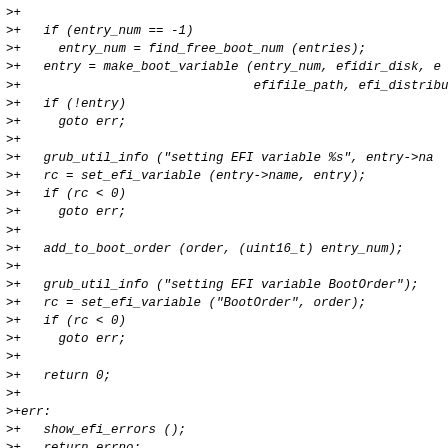>+
>+   if (entry_num == -1)
>+     entry_num = find_free_boot_num (entries);
>+   entry = make_boot_variable (entry_num, efidir_disk, e
>+                               efifile_path, efi_distribu
>+   if (!entry)
>+     goto err;
>+
>+   grub_util_info ("setting EFI variable %s", entry->na
>+   rc = set_efi_variable (entry->name, entry);
>+   if (rc < 0)
>+     goto err;
>+
>+   add_to_boot_order (order, (uint16_t) entry_num);
>+
>+   grub_util_info ("setting EFI variable BootOrder");
>+   rc = set_efi_variable ("BootOrder", order);
>+   if (rc < 0)
>+     goto err;
>+
>+   return 0;
>+
>+err:
>+   show_efi_errors ();
>+   return errno;
>+}
>+
>+#endif /* HAVE_EFIVAR */
>diff --git a/grub-core/osdep/unix/platform.c b/grub-core
>index 55b8f4016..9d4530a38 100644
>--- a/grub-core/osdep/unix/platform.c